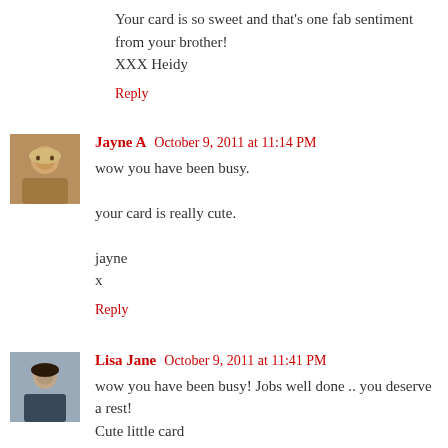Your card is so sweet and that's one fab sentiment from your brother!
XXX Heidy
Reply
[Figure (photo): Avatar photo of Jayne A, a woman with blonde hair]
Jayne A  October 9, 2011 at 11:14 PM
wow you have been busy.

your card is really cute.

jayne
x
Reply
[Figure (photo): Avatar photo of Lisa Jane, a woman in dark clothing]
Lisa Jane  October 9, 2011 at 11:41 PM
wow you have been busy! Jobs well done .. you deserve a rest!
Cute little card
Lisa x